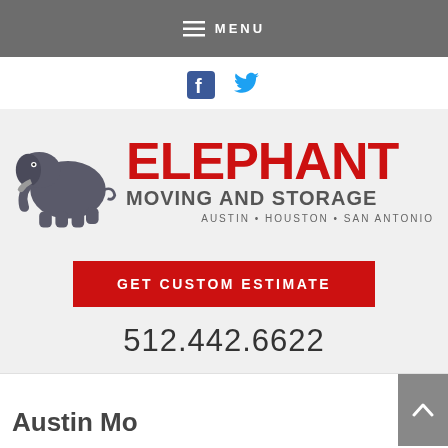MENU
[Figure (logo): Social media icons: Facebook (blue square f) and Twitter (blue bird)]
[Figure (logo): Elephant Moving and Storage logo with elephant silhouette in gray, ELEPHANT text in red, MOVING AND STORAGE in gray, AUSTIN • HOUSTON • SAN ANTONIO in gray]
GET CUSTOM ESTIMATE
512.442.6622
Austin Mo...